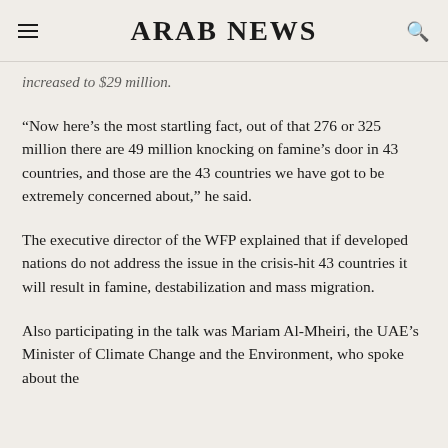ARAB NEWS
increased to $29 million.
“Now here’s the most startling fact, out of that 276 or 325 million there are 49 million knocking on famine’s door in 43 countries, and those are the 43 countries we have got to be extremely concerned about,” he said.
The executive director of the WFP explained that if developed nations do not address the issue in the crisis-hit 43 countries it will result in famine, destabilization and mass migration.
Also participating in the talk was Mariam Al-Mheiri, the UAE’s Minister of Climate Change and the Environment, who spoke about the